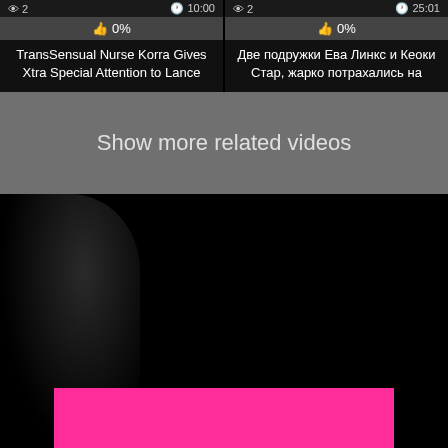0%
0%
TransSensual Nurse Korra Gives Xtra Special Attention to Lance
Две подружки Ева Линкс и Кеоки Стар, жарко потрахались на
Show more related videos
[Figure (photo): Dark background with silhouette on left and bright pink/magenta rectangle at the bottom center]